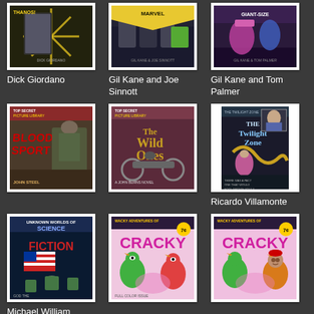[Figure (illustration): Comic book cover art by Dick Giordano]
Dick Giordano
[Figure (illustration): Comic book cover art by Gil Kane and Joe Sinnott]
Gil Kane and Joe Sinnott
[Figure (illustration): Comic book cover art by Gil Kane and Tom Palmer]
Gil Kane and Tom Palmer
[Figure (illustration): Blood Sport comic cover]
[Figure (illustration): The Wild Ones comic cover]
[Figure (illustration): The Twilight Zone comic cover by Ricardo Villamonte]
Ricardo Villamonte
[Figure (illustration): Unknown Worlds Science Fiction comic cover by Michael William]
Michael William
[Figure (illustration): Wacky Adventures of Cracky comic cover]
[Figure (illustration): Wacky Adventures of Cracky comic cover]